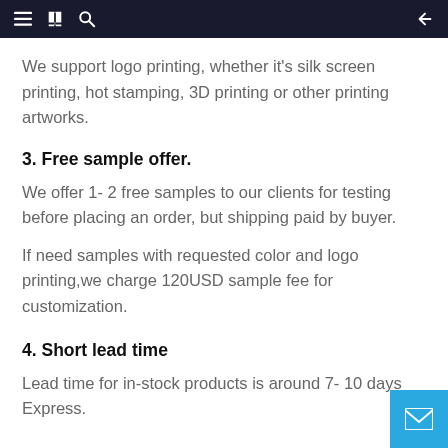navigation bar with menu, book, search icons and back arrow
We support logo printing, whether it's silk screen printing, hot stamping, 3D printing or other printing artworks.
3. Free sample offer.
We offer 1- 2 free samples to our clients for testing before placing an order, but shipping paid by buyer.
If need samples with requested color and logo printing,we charge 120USD sample fee for customization.
4. Short lead time
Lead time for in-stock products is around 7- 10 days Express.